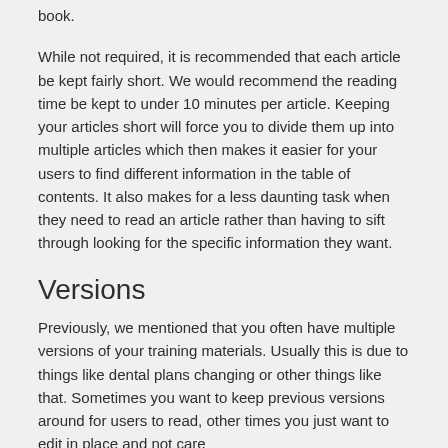book.
While not required, it is recommended that each article be kept fairly short. We would recommend the reading time be kept to under 10 minutes per article. Keeping your articles short will force you to divide them up into multiple articles which then makes it easier for your users to find different information in the table of contents. It also makes for a less daunting task when they need to read an article rather than having to sift through looking for the specific information they want.
Versions
Previously, we mentioned that you often have multiple versions of your training materials. Usually this is due to things like dental plans changing or other things like that. Sometimes you want to keep previous versions around for users to read, other times you just want to edit in place and not care